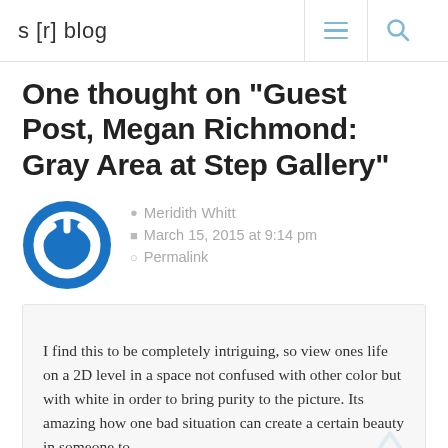s [r] blog
One thought on “Guest Post, Megan Richmond: Gray Area at Step Gallery”
Meridith Whitt
March 15, 2015 at 9:14 pm
Permalink
I find this to be completely intriguing, so view ones life on a 2D level in a space not confused with other color but with white in order to bring purity to the picture. Its amazing how one bad situation can create a certain beauty in someone to